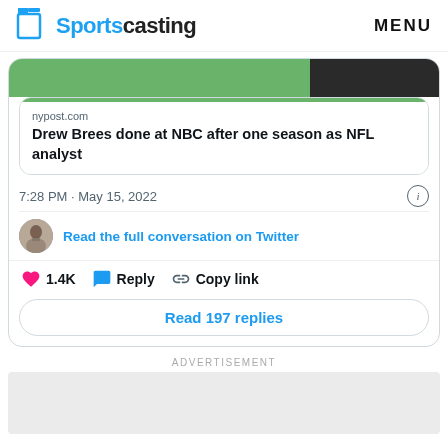Sportscasting    MENU
[Figure (screenshot): Twitter/X embedded tweet card showing a quoted link card from nypost.com with headline 'Drew Brees done at NBC after one season as NFL analyst', timestamp '7:28 PM · May 15, 2022', a user avatar, 'Read the full conversation on Twitter' link, like count 1.4K, Reply button, Copy link button, and 'Read 197 replies' button.]
nypost.com
Drew Brees done at NBC after one season as NFL analyst
7:28 PM · May 15, 2022
Read the full conversation on Twitter
1.4K   Reply   Copy link
Read 197 replies
ADVERTISEMENT